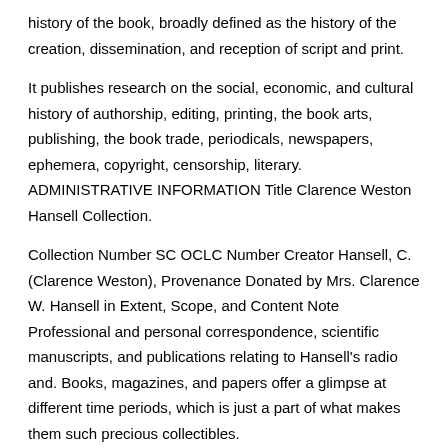history of the book, broadly defined as the history of the creation, dissemination, and reception of script and print.
It publishes research on the social, economic, and cultural history of authorship, editing, printing, the book arts, publishing, the book trade, periodicals, newspapers, ephemera, copyright, censorship, literary. ADMINISTRATIVE INFORMATION Title Clarence Weston Hansell Collection.
Collection Number SC OCLC Number Creator Hansell, C. (Clarence Weston), Provenance Donated by Mrs. Clarence W. Hansell in Extent, Scope, and Content Note Professional and personal correspondence, scientific manuscripts, and publications relating to Hansell's radio and. Books, magazines, and papers offer a glimpse at different time periods, which is just a part of what makes them such precious collectibles.
From comic books to basics of gold, The Bible, classic and modern masterpieces of literature, there is a variety of. Comprising minute books, court records, account and fee books, newspapers, a